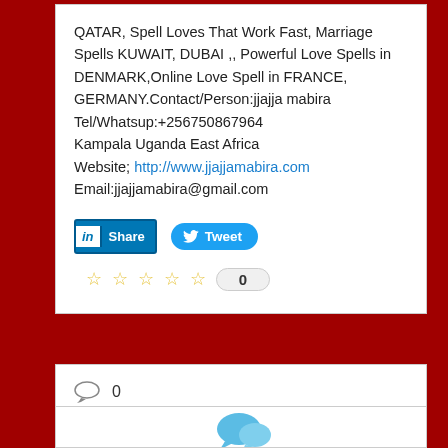QATAR, Spell Loves That Work Fast, Marriage Spells KUWAIT, DUBAI ,, Powerful Love Spells in DENMARK,Online Love Spell in FRANCE, GERMANY.Contact/Person:jjajja mabira Tel/Whatsup:+256750867964 Kampala Uganda East Africa Website; http://www.jjajjamabira.com Email:jjajjamabira@gmail.com
[Figure (other): LinkedIn Share button and Twitter Tweet button]
[Figure (other): Five empty star rating icons with vote count 0]
[Figure (other): Comment icon with count 0]
[Figure (other): Chat bubble illustration icon at bottom]